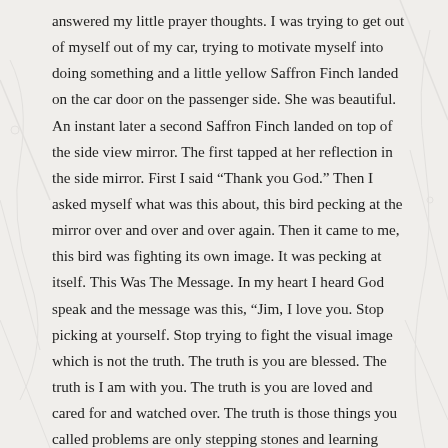answered my little prayer thoughts.  I was trying to get out of myself out of my car, trying to motivate myself into doing something and a little yellow Saffron Finch landed on the car door on the passenger side.  She was beautiful.  An instant later a second Saffron Finch landed on top of the side view mirror.  The first tapped at her reflection in the side mirror.  First I said “Thank you God.”  Then I asked myself what was this about, this bird pecking at the mirror over and over and over again.  Then it came to me, this bird was fighting its own image.  It was pecking at itself.  This Was The Message.  In my heart I heard God speak and the message was this, “Jim, I love you.  Stop picking at yourself.  Stop trying to fight the visual image which is not the truth. The truth is you are blessed.  The truth is I am with you.  The truth is you are loved and cared for and watched over.  The truth is those things you called problems are only stepping stones and learning lessons which you asked for.  Remember when you asked Me for greatness.  The path to your greatness, Jim, is through these lessons.  Some call them trials and tribulations.  The